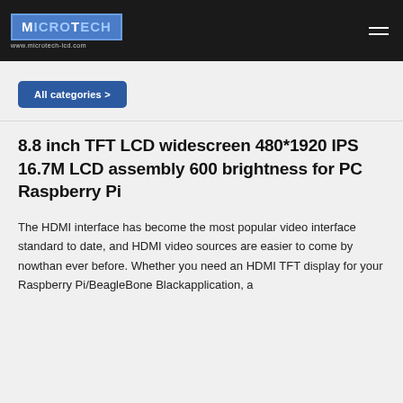MicroTech www.microtech-lcd.com
All categories >
8.8 inch TFT LCD widescreen 480*1920 IPS 16.7M LCD assembly 600 brightness for PC Raspberry Pi
The HDMI interface has become the most popular video interface standard to date, and HDMI video sources are easier to come by nowthan ever before. Whether you need an HDMI TFT display for your Raspberry Pi/BeagleBone Blackapplication, a